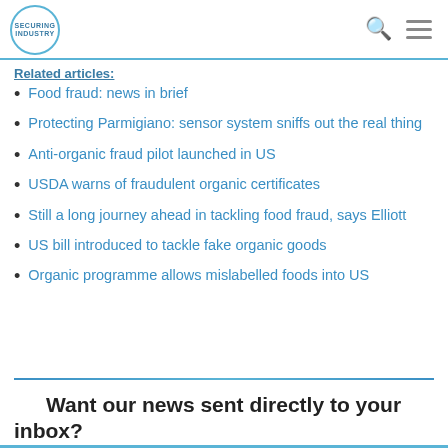Securing Industry
Food fraud: news in brief
Protecting Parmigiano: sensor system sniffs out the real thing
Anti-organic fraud pilot launched in US
USDA warns of fraudulent organic certificates
Still a long journey ahead in tackling food fraud, says Elliott
US bill introduced to tackle fake organic goods
Organic programme allows mislabelled foods into US
Want our news sent directly to your inbox?